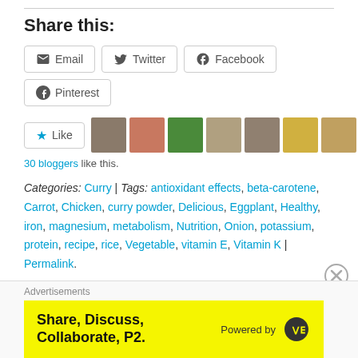Share this:
Email | Twitter | Facebook | Pinterest
[Figure (other): Like button with 30 blogger avatars]
30 bloggers like this.
Categories: Curry | Tags: antioxidant effects, beta-carotene, Carrot, Chicken, curry powder, Delicious, Eggplant, Healthy, iron, magnesium, metabolism, Nutrition, Onion, potassium, protein, recipe, rice, Vegetable, vitamin E, Vitamin K | Permalink.
[Figure (other): Advertisement banner: Share, Discuss, Collaborate, P2. Powered by WordPress]